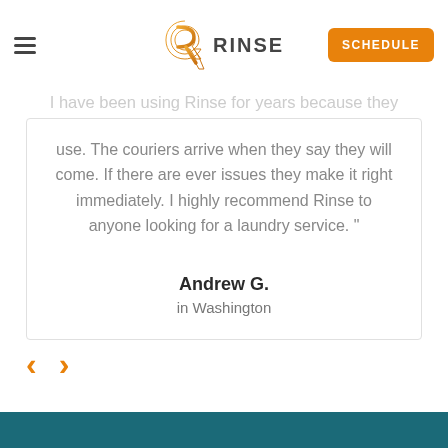RINSE — Schedule
I have been using Rinse for years because they always provide outstanding service. The app is easy to use. The couriers arrive when they say they will come. If there are ever issues they make it right immediately. I highly recommend Rinse to anyone looking for a laundry service. "
Andrew G.
in Washington
[Figure (other): Navigation arrows (previous/next) in orange color for testimonial carousel]
[Figure (other): Teal footer strip at bottom of page]